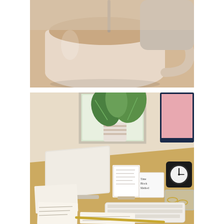[Figure (photo): Close-up photograph of a cream-colored ceramic coffee mug filled with milky coffee or latte, held by a hand wearing a light gray sweater. The mug has a large handle and the liquid nearly fills to the brim.]
[Figure (photo): Photograph of an organized home office desk setup shot from above at an angle. The wooden desk contains: a laptop on a silver stand, scattered papers and index/note cards with handwriting, a white calendar or to-do list display stand, a small white card stand reading 'Time Block Method', a square black digital timer/clock, a white Apple wireless keyboard, gold paper clips in a clear acrylic organizer, a striped white pot holding a green watermelon peperomia plant near a bright window, and an iMac computer monitor partially visible in the top right corner.]